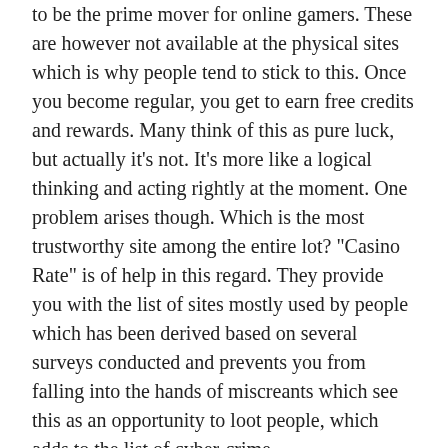to be the prime mover for online gamers. These are however not available at the physical sites which is why people tend to stick to this. Once you become regular, you get to earn free credits and rewards. Many think of this as pure luck, but actually it's not. It's more like a logical thinking and acting rightly at the moment. One problem arises though. Which is the most trustworthy site among the entire lot? "Casino Rate" is of help in this regard. They provide you with the list of sites mostly used by people which has been derived based on several surveys conducted and prevents you from falling into the hands of miscreants which see this as an opportunity to loot people, which adds to the list of cyber-crime.
Play safe, stay safe
With every passing day, thousands of people of